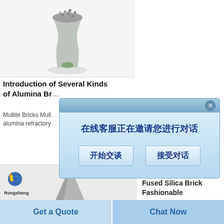[Figure (photo): A vase or container with grey powder/granules material (alumina) on a white background]
Introduction of Several Kinds of Alumina Br...
Mullite Bricks Mullite ... alumina refractory...
[Figure (screenshot): Chinese popup dialog with message '在线客服正在邀请您进行对话' and two buttons '开始交谈' and '接受对话']
[Figure (photo): Rongsheng logo (flame and globe) with product image of a grey cone/spike shaped refractory brick]
China various kinds Fused Silica Brick Fashionable
China Fused Magnesite
Get a Quote
Chat Now